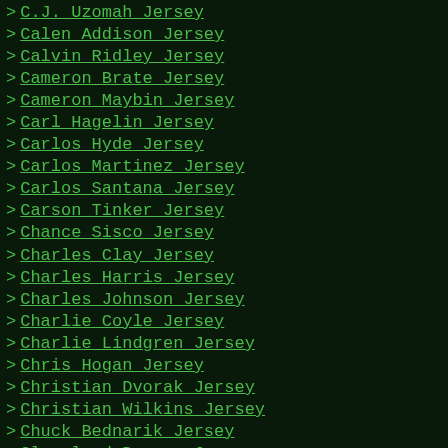> C.J. Uzomah Jersey
> Calen Addison Jersey
> Calvin Ridley Jersey
> Cameron Brate Jersey
> Cameron Maybin Jersey
> Carl Hagelin Jersey
> Carlos Hyde Jersey
> Carlos Martinez Jersey
> Carlos Santana Jersey
> Carson Tinker Jersey
> Chance Sisco Jersey
> Charles Clay Jersey
> Charles Harris Jersey
> Charles Johnson Jersey
> Charlie Coyle Jersey
> Charlie Lindgren Jersey
> Chris Hogan Jersey
> Christian Dvorak Jersey
> Christian Wilkins Jersey
> Chuck Bednarik Jersey
> Cleveland Browns Jersey
> Connor Murphy Jersey
> Cooper Kupp Jersey